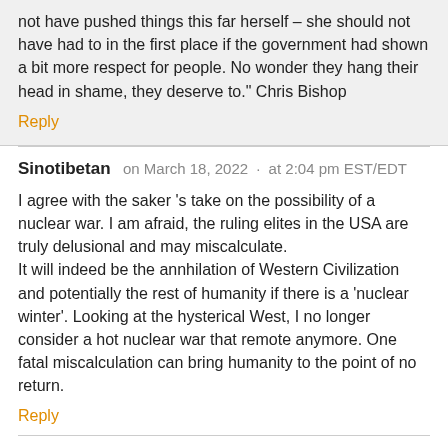not have pushed things this far herself – she should not have had to in the first place if the government had shown a bit more respect for people. No wonder they hang their head in shame, they deserve to." Chris Bishop
Reply
Sinotibetan   on March 18, 2022  ·  at 2:04 pm EST/EDT
I agree with the saker 's take on the possibility of a nuclear war. I am afraid, the ruling elites in the USA are truly delusional and may miscalculate.
It will indeed be the annhilation of Western Civilization and potentially the rest of humanity if there is a 'nuclear winter'. Looking at the hysterical West, I no longer consider a hot nuclear war that remote anymore. One fatal miscalculation can bring humanity to the point of no return.
Reply
Mario   on March 18, 2022  ·  at 2:05 pm EST/EDT
By the level of demonization and media war that the West has started against Russia, this is more ot the do the...